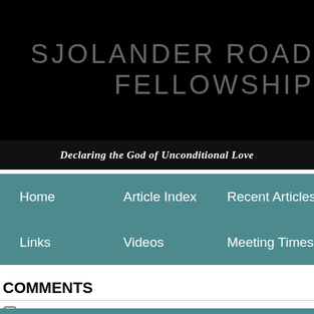SJOLANDER ROAD FELLOWSHIP
Declaring the God of Unconditional Love
Home   Article Index   Recent Articles   Cont...   Links   Videos   Meeting Times
COMMENTS
Post a Comment  Hide Comments (1)
joe melancon:
we are one in sprit
we one the flash
like that old song